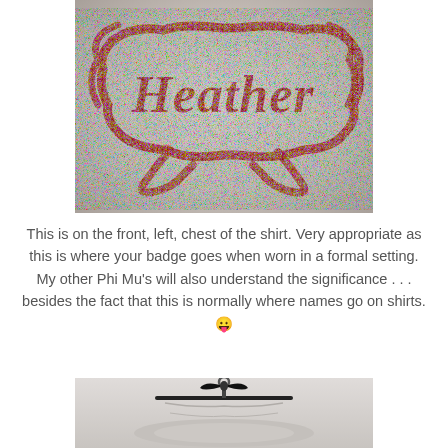[Figure (photo): Close-up photo of a gray shirt with a glitter dark red/crimson decorative script text reading 'Heather' inside an ornate banner/frame design made of sparkly glitter material.]
This is on the front, left, chest of the shirt. Very appropriate as this is where your badge goes when worn in a formal setting. My other Phi Mu's will also understand the significance . . . besides the fact that this is normally where names go on shirts. 😛
[Figure (photo): Photo showing the bottom portion of a gray shirt folded on a black clothes hanger with a black ribbon/bow tied at the top of the hanger.]